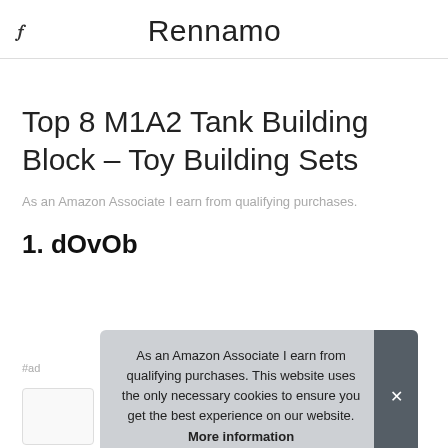Rennamo
Top 8 M1A2 Tank Building Block – Toy Building Sets
As an Amazon Associate I earn from qualifying purchases.
1. dOvOb
As an Amazon Associate I earn from qualifying purchases. This website uses the only necessary cookies to ensure you get the best experience on our website. More information